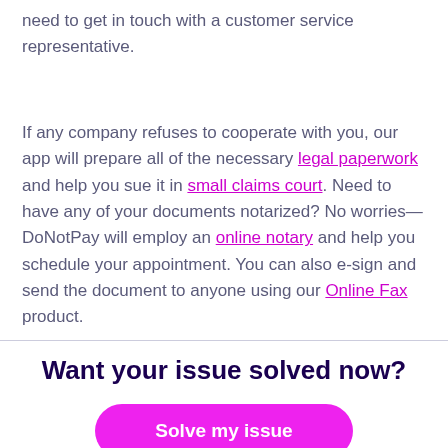need to get in touch with a customer service representative.
If any company refuses to cooperate with you, our app will prepare all of the necessary legal paperwork and help you sue it in small claims court. Need to have any of your documents notarized? No worries—DoNotPay will employ an online notary and help you schedule your appointment. You can also e-sign and send the document to anyone using our Online Fax product.
Want your issue solved now?